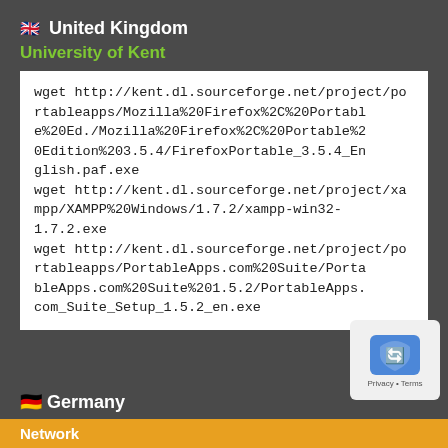🇬🇧 United Kingdom
University of Kent
wget http://kent.dl.sourceforge.net/project/portableapps/Mozilla%20Firefox%2C%20Portable%20Ed./Mozilla%20Firefox%2C%20Portable%20Edition%203.5.4/FirefoxPortable_3.5.4_English.paf.exe
wget http://kent.dl.sourceforge.net/project/xampp/XAMPP%20Windows/1.7.2/xampp-win32-1.7.2.exe
wget http://kent.dl.sourceforge.net/project/portableapps/PortableApps.com%20Suite/PortableApps.com%20Suite%201.5.2/PortableApps.com_Suite_Setup_1.5.2_en.exe
🇩🇪 Germany
Network